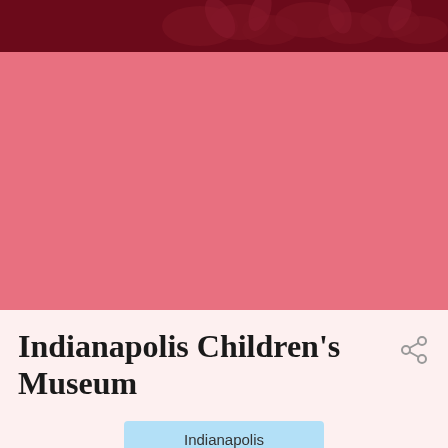[Figure (photo): Dark maroon/burgundy header image with floral pattern]
[Figure (illustration): Large pink/salmon colored block filling the upper middle portion of the page]
Indianapolis Children's Museum
June 23, 2017
Indianapolis